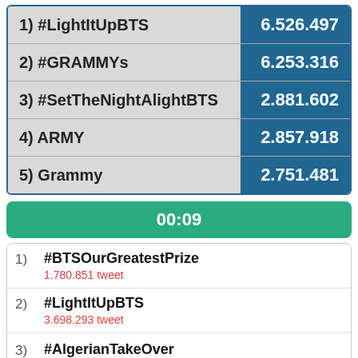| Rank/Tag | Count |
| --- | --- |
| 1) #LightItUpBTS | 6.526.497 |
| 2) #GRAMMYs | 6.253.316 |
| 3) #SetTheNightAlightBTS | 2.881.602 |
| 4) ARMY | 2.857.918 |
| 5) Grammy | 2.751.481 |
00:09
1) #BTSOurGreatestPrize — 1.780.851 tweet
2) #LightItUpBTS — 3.698.293 tweet
3) #AlgerianTakeOver
4) #BTSARMY — 384.347 tweet